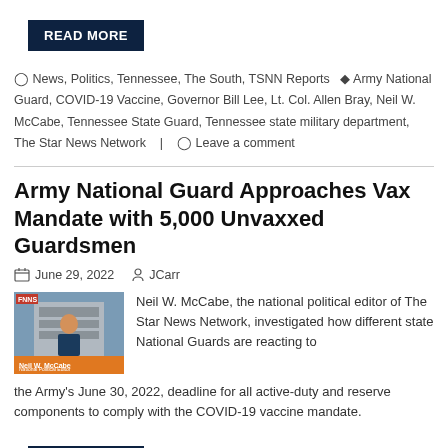READ MORE
News, Politics, Tennessee, The South, TSNN Reports  Army National Guard, COVID-19 Vaccine, Governor Bill Lee, Lt. Col. Allen Bray, Neil W. McCabe, Tennessee State Guard, Tennessee state military department, The Star News Network  Leave a comment
Army National Guard Approaches Vax Mandate with 5,000 Unvaxxed Guardsmen
June 29, 2022   JCarr
[Figure (photo): Photo of Neil W. McCabe, national political editor, standing in front of a building, with a name chyron at the bottom.]
Neil W. McCabe, the national political editor of The Star News Network, investigated how different state National Guards are reacting to the Army's June 30, 2022, deadline for all active-duty and reserve components to comply with the COVID-19 vaccine mandate.
READ MORE